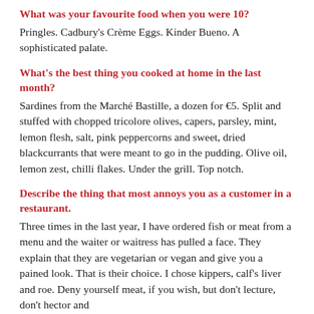What was your favourite food when you were 10?
Pringles. Cadbury's Crème Eggs. Kinder Bueno. A sophisticated palate.
What's the best thing you cooked at home in the last month?
Sardines from the Marché Bastille, a dozen for €5. Split and stuffed with chopped tricolore olives, capers, parsley, mint, lemon flesh, salt, pink peppercorns and sweet, dried blackcurrants that were meant to go in the pudding. Olive oil, lemon zest, chilli flakes. Under the grill. Top notch.
Describe the thing that most annoys you as a customer in a restaurant.
Three times in the last year, I have ordered fish or meat from a menu and the waiter or waitress has pulled a face. They explain that they are vegetarian or vegan and give you a pained look. That is their choice. I chose kippers, calf's liver and roe. Deny yourself meat, if you wish, but don't lecture, don't hector and